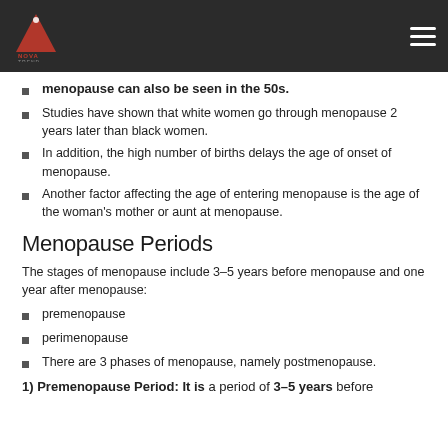Nova Trend logo and navigation
menopause can also be seen in the 50s.
Studies have shown that white women go through menopause 2 years later than black women.
In addition, the high number of births delays the age of onset of menopause.
Another factor affecting the age of entering menopause is the age of the woman's mother or aunt at menopause.
Menopause Periods
The stages of menopause include 3-5 years before menopause and one year after menopause:
premenopause
perimenopause
There are 3 phases of menopause, namely postmenopause.
1) Premenopause Period: It is a period of 3-5 years before